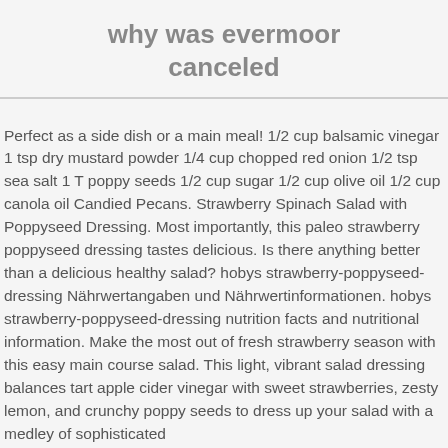why was evermoor canceled
Perfect as a side dish or a main meal! 1/2 cup balsamic vinegar 1 tsp dry mustard powder 1/4 cup chopped red onion 1/2 tsp sea salt 1 T poppy seeds 1/2 cup sugar 1/2 cup olive oil 1/2 cup canola oil Candied Pecans. Strawberry Spinach Salad with Poppyseed Dressing. Most importantly, this paleo strawberry poppyseed dressing tastes delicious. Is there anything better than a delicious healthy salad? hobys strawberry-poppyseed-dressing Nährwertangaben und Nährwertinformationen. hobys strawberry-poppyseed-dressing nutrition facts and nutritional information. Make the most out of fresh strawberry season with this easy main course salad. This light, vibrant salad dressing balances tart apple cider vinegar with sweet strawberries, zesty lemon, and crunchy poppy seeds to dress up your salad with a medley of sophisticated flavors. Add a one of the above ingredients. This light, vibrant salad dressing balances...